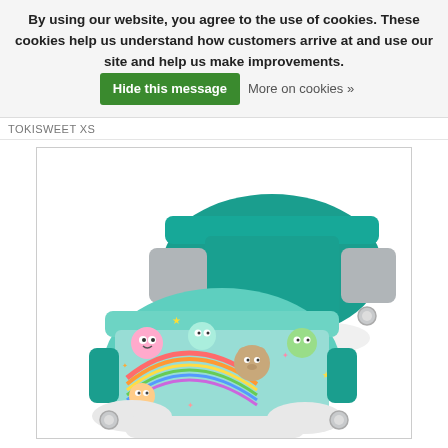By using our website, you agree to the use of cookies. These cookies help us understand how customers arrive at and use our site and help us make improvements. [Hide this message] More on cookies »
TOKISWEET XS
[Figure (photo): Two baby swim diapers/cloth diapers. The back one is solid teal/emerald green with grey side panels and snap closures. The front one is a colorful printed design with cartoon characters on a teal/mint background with rainbow motifs, also with snap closures. Both have ruched/gathered edges.]